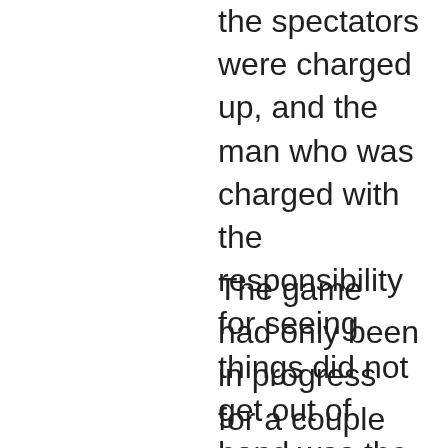the spectators were charged up, and the man who was charged with the responsibility for seeing things did not get out of hand was the referee, Mr. Barker of Birmingham.
The game had only been in progress for a couple of minutes or so but in that time there were three incidents that would result in the match being called off.  In the judgement of reporters covering the game, Mr. Barker made two